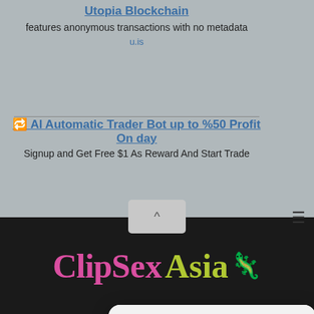Utopia Blockchain
features anonymous transactions with no metadata
u.is
🔁 AI Automatic Trader Bot up to %50 Profit On day
Signup and Get Free $1 As Reward And Start Trade
[Figure (screenshot): Mobile browser alert dialog with title '(1) Hi baby.. are you alone?🔔' and message 'Alice (Online) 🔔 Click to see her profile ←' with CANCEL and OK buttons]
[Figure (logo): ClipSexAsia logo in pink and yellow-green text on dark background]